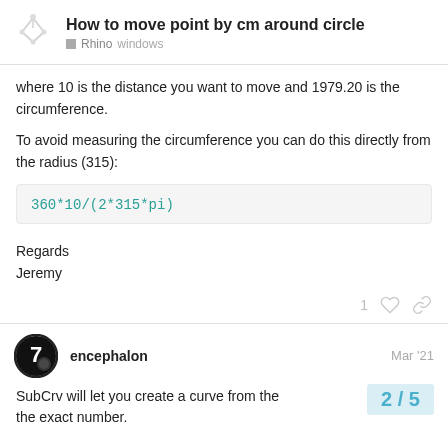How to move point by cm around circle | Rhino windows
where 10 is the distance you want to move and 1979.20 is the circumference.
To avoid measuring the circumference you can do this directly from the radius (315):
Regards
Jeremy
encephalon   Mar '21
SubCrv will let you create a curve from the the exact number.